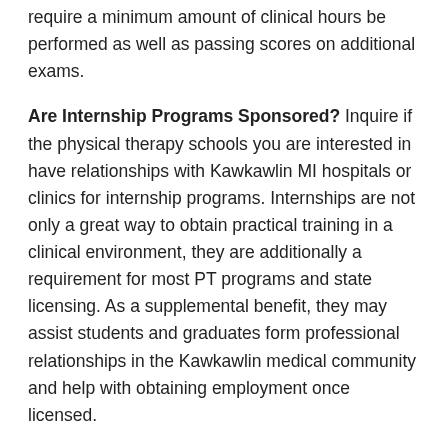require a minimum amount of clinical hours be performed as well as passing scores on additional exams.
Are Internship Programs Sponsored? Inquire if the physical therapy schools you are interested in have relationships with Kawkawlin MI hospitals or clinics for internship programs. Internships are not only a great way to obtain practical training in a clinical environment, they are additionally a requirement for most PT programs and state licensing. As a supplemental benefit, they may assist students and graduates form professional relationships in the Kawkawlin medical community and help with obtaining employment once licensed.
What are the Class Sizes ? Unless you are the kind of student that prefers to sit way in the back of class or get lost in the crowd, you will likely want a smaller class size. Smaller classes allow for more individualized attention...